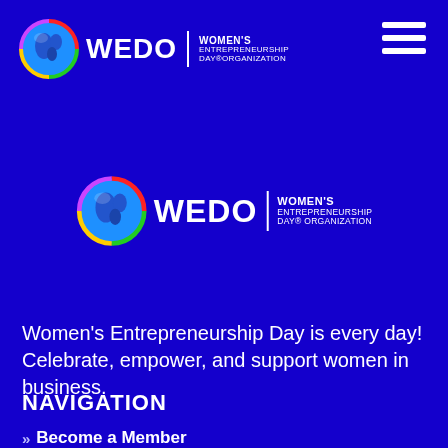[Figure (logo): WEDO Women's Entrepreneurship Day Organization logo with globe graphic in header top-left]
[Figure (other): Hamburger menu icon (three horizontal white lines) in top-right corner]
[Figure (logo): WEDO Women's Entrepreneurship Day Organization logo centered in middle of page]
Women's Entrepreneurship Day is every day! Celebrate, empower, and support women in business.
NAVIGATION
» Become a Member